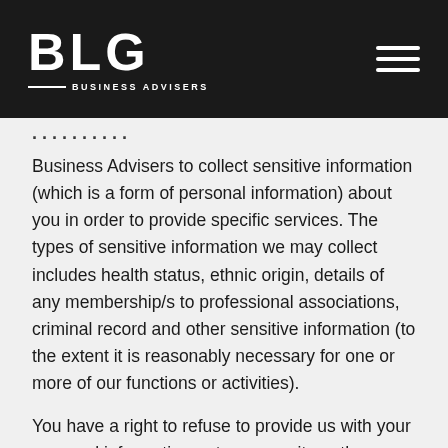BLG BUSINESS ADVISERS
Business Advisers to collect sensitive information (which is a form of personal information) about you in order to provide specific services. The types of sensitive information we may collect includes health status, ethnic origin, details of any membership/s to professional associations, criminal record and other sensitive information (to the extent it is reasonably necessary for one or more of our functions or activities).
You have a right to refuse to provide us with your personal information or to anonymity or the use of a pseudonym. However, if you do refuse to provide such information, or request the use of anonymity or a pseudonym, we may be unable to complete or fulfil